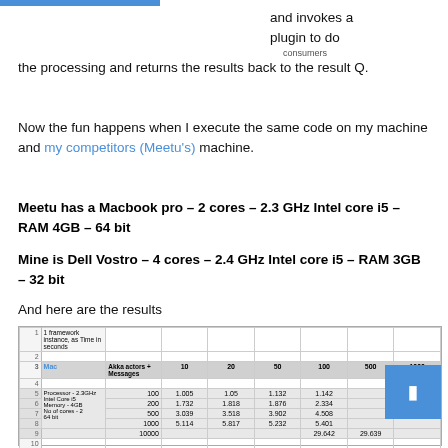and invokes a plugin to do the processing and returns the results back to the result Q.
Now the fun happens when I execute the same code on my machine and my competitors (Meetu's) machine.
Meetu has a Macbook pro – 2 cores – 2.3 GHz Intel core i5 – RAM 4GB – 64 bit
Mine is Dell Vostro – 4 cores – 2.4 GHz Intel core i5 – RAM 3GB – 32 bit
And here are the results
|  | 1 framework instance, as Time in seconds | Akka actors + Messages | 10 | 20 | 50 | 100 | 500 | 1000 |
| --- | --- | --- | --- | --- | --- | --- | --- | --- |
| 5 | Mac | Akka actors + Messages | 10 | 20 | 50 | 100 | 500 | 1000 |
| 6 | Processor - 2.3GHz Intel Core i5
Memory - 4GB
No of cores - 2
64 bit | 100
200
500
1000
10000 | 1.005
1.732
3.039
5.114 | 1.05
1.818
3.518
5.817 | 1.132
1.876
3.902
5.232 | 1.142
2.334
4.508
5.401
29.642 |  | 29.639 |
| 35 | Del | Akka actors + Messages | 10 | 20 | 50 | 100 | 500 | 1000 |